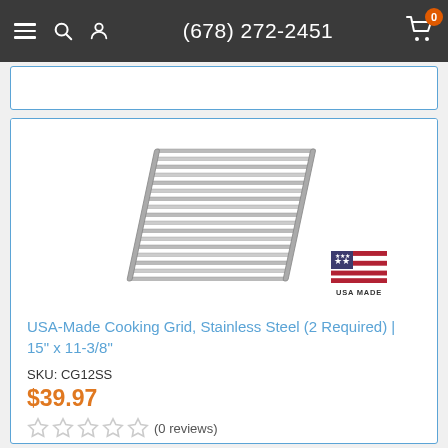(678) 272-2451
[Figure (photo): Stainless steel cooking grid grill grate with USA MADE badge]
USA-Made Cooking Grid, Stainless Steel (2 Required) | 15" x 11-3/8"
SKU: CG12SS
$39.97
(0 reviews)
No longer available. Search cooking grids by